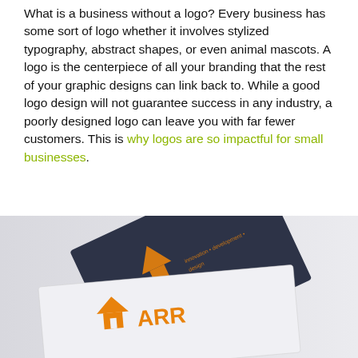What is a business without a logo? Every business has some sort of logo whether it involves stylized typography, abstract shapes, or even animal mascots. A logo is the centerpiece of all your branding that the rest of your graphic designs can link back to. While a good logo design will not guarantee success in any industry, a poorly designed logo can leave you with far fewer customers. This is why logos are so impactful for small businesses.
[Figure (photo): Photo of business cards with a dark navy/charcoal background featuring orange logo elements, stacked at angles. The bottom card shows 'ARR' text with a house/roof icon logo in orange on white background.]